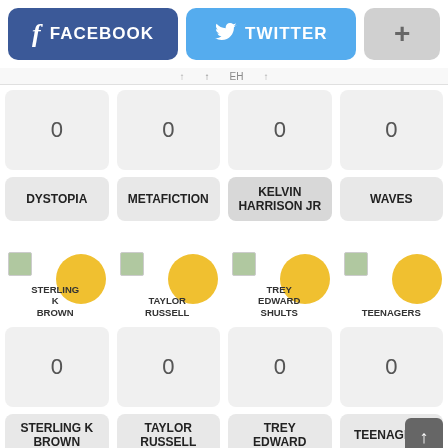[Figure (screenshot): Social share buttons: Facebook (blue), Twitter (cyan), and a plus button (gray)]
0 0 0 0 (four count cells)
DYSTOPIA
METAFICTION
KELVIN HARRISON JR
WAVES
[Figure (infographic): Avatar row: STERLING K BROWN, TAYLOR RUSSELL, TREY EDWARD SHULTS, TEENAGERS - each with yellow circle avatar and small image thumbnail]
0 0 0 0 (second row of count cells)
STERLING K BROWN
TAYLOR RUSSELL
TREY EDWARD SHULTS (partial)
TEENAGERS